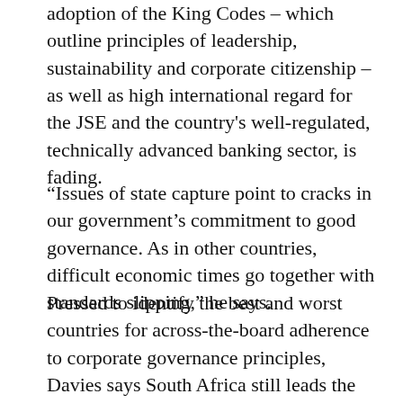adoption of the King Codes – which outline principles of leadership, sustainability and corporate citizenship – as well as high international regard for the JSE and the country's well-regulated, technically advanced banking sector, is fading.
“Issues of state capture point to cracks in our government’s commitment to good governance. As in other countries, difficult economic times go together with standards slipping,” he says.
Pressed to identify the best and worst countries for across-the-board adherence to corporate governance principles, Davies says South Africa still leads the continent, with Botswana, Mauritius, Rwanda and Kenya following. On the downside, he lists Nigeria, Chad, Niger, Sudan,